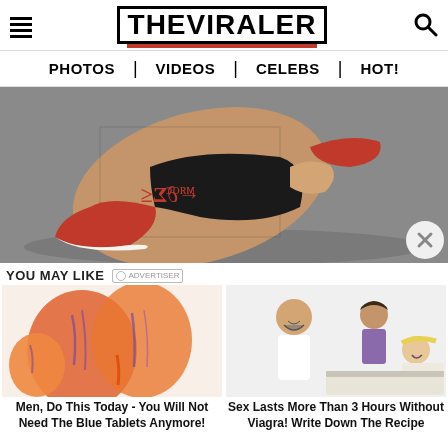THE VIRALER
PHOTOS | VIDEOS | CELEBS | HOT!
[Figure (photo): Person kneeling wearing fishnet stockings and red/black sneakers with graphic lettering on sole, on grey background]
YOU MAY LIKE
[Figure (photo): Advertisement image showing orange and purple organic-looking shapes]
Men, Do This Today - You Will Not Need The Blue Tablets Anymore!
[Figure (illustration): Advertisement showing a doctor and an illustrated couple in bed]
Sex Lasts More Than 3 Hours Without Viagra! Write Down The Recipe